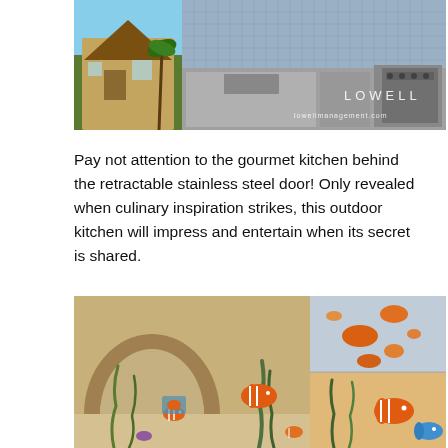[Figure (photo): Composite photo showing a house exterior on the left and a stainless steel outdoor kitchen on the right with LOWELL branding and lowellmanagement.com watermark]
Pay not attention to the gourmet kitchen behind the retractable stainless steel door!  Only revealed when culinary inspiration strikes, this outdoor kitchen will impress and entertain when its secret is shared.
[Figure (photo): Composite photo showing a children's room mural with underwater ocean theme: a cave arch with Nemo fish characters, seaweed, and colorful fish on painted walls]